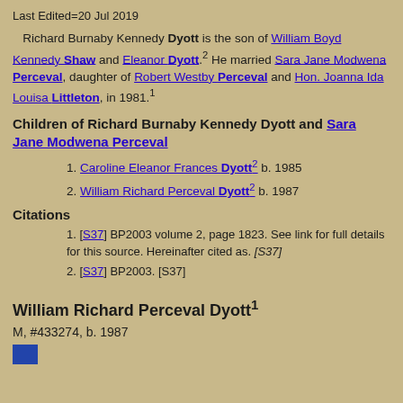Last Edited=20 Jul 2019
Richard Burnaby Kennedy Dyott is the son of William Boyd Kennedy Shaw and Eleanor Dyott.2 He married Sara Jane Modwena Perceval, daughter of Robert Westby Perceval and Hon. Joanna Ida Louisa Littleton, in 1981.1
Children of Richard Burnaby Kennedy Dyott and Sara Jane Modwena Perceval
1. Caroline Eleanor Frances Dyott2 b. 1985
2. William Richard Perceval Dyott2 b. 1987
Citations
1. [S37] BP2003 volume 2, page 1823. See link for full details for this source. Hereinafter cited as. [S37]
2. [S37] BP2003. [S37]
William Richard Perceval Dyott1
M, #433274, b. 1987